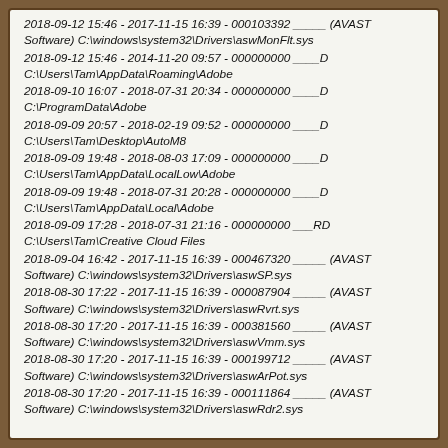2018-09-12 15:46 - 2017-11-15 16:39 - 000103392 _____ (AVAST Software) C:\windows\system32\Drivers\aswMonFlt.sys
2018-09-12 15:46 - 2014-11-20 09:57 - 000000000 ____D C:\Users\Tam\AppData\Roaming\Adobe
2018-09-10 16:07 - 2018-07-31 20:34 - 000000000 ____D C:\ProgramData\Adobe
2018-09-09 20:57 - 2018-02-19 09:52 - 000000000 ____D C:\Users\Tam\Desktop\AutoM8
2018-09-09 19:48 - 2018-08-03 17:09 - 000000000 ____D C:\Users\Tam\AppData\LocalLow\Adobe
2018-09-09 19:48 - 2018-07-31 20:28 - 000000000 ____D C:\Users\Tam\AppData\Local\Adobe
2018-09-09 17:28 - 2018-07-31 21:16 - 000000000 ___RD C:\Users\Tam\Creative Cloud Files
2018-09-04 16:42 - 2017-11-15 16:39 - 000467320 _____ (AVAST Software) C:\windows\system32\Drivers\aswSP.sys
2018-08-30 17:22 - 2017-11-15 16:39 - 000087904 _____ (AVAST Software) C:\windows\system32\Drivers\aswRvrt.sys
2018-08-30 17:20 - 2017-11-15 16:39 - 000381560 _____ (AVAST Software) C:\windows\system32\Drivers\aswVmm.sys
2018-08-30 17:20 - 2017-11-15 16:39 - 000199712 _____ (AVAST Software) C:\windows\system32\Drivers\aswArPot.sys
2018-08-30 17:20 - 2017-11-15 16:39 - 000111864 _____ (AVAST Software) C:\windows\system32\Drivers\aswRdr2.sys